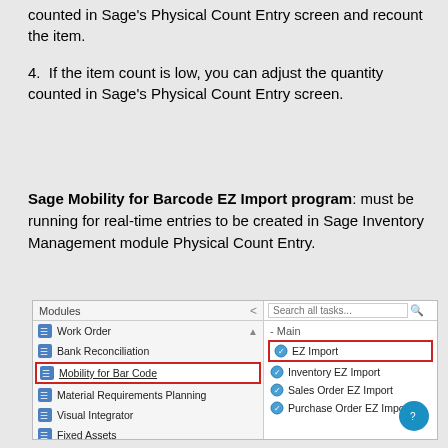counted in Sage's Physical Count Entry screen and recount the item.
4. If the item count is low, you can adjust the quantity counted in Sage's Physical Count Entry screen.
Sage Mobility for Barcode EZ Import program: must be running for real-time entries to be created in Sage Inventory Management module Physical Count Entry.
[Figure (screenshot): Sage software interface showing Modules panel on left with Work Order, Bank Reconciliation, Mobility for Bar Code (highlighted in red border), Material Requirements Planning, Visual Integrator, Fixed Assets. Right panel shows Search all tasks bar, Main section with EZ Import (highlighted in red border), Inventory EZ Import, Sales Order EZ Import, Purchase Order EZ Import. Blue circular help button in bottom right.]